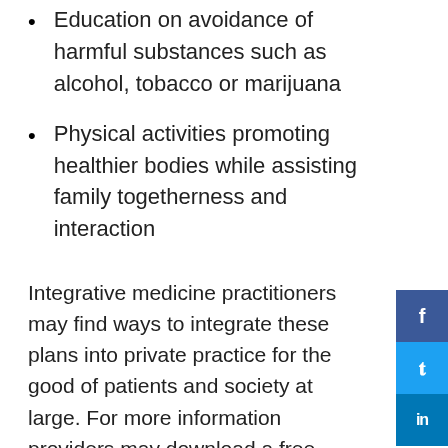Education on avoidance of harmful substances such as alcohol, tobacco or marijuana
Physical activities promoting healthier bodies while assisting family togetherness and interaction
Integrative medicine practitioners may find ways to integrate these plans into private practice for the good of patients and society at large. For more information providers may download a free book with promotion and prevention strategies published by The National Academies of Science, Engineering, and Medicine at